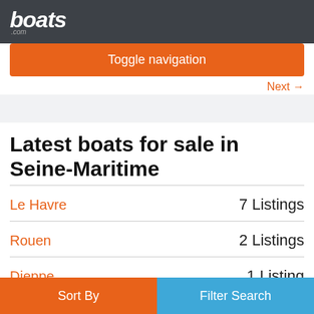boats.com
Toggle navigation
Next →
Latest boats for sale in Seine-Maritime
Le Havre — 7 Listings
Rouen — 2 Listings
Dieppe — 1 Listing
Sort By | Filter Search